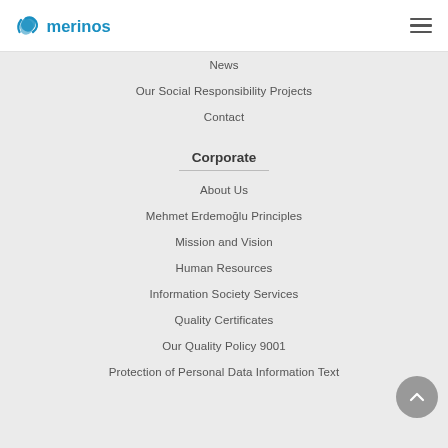merinos
News
Our Social Responsibility Projects
Contact
Corporate
About Us
Mehmet Erdemoğlu Principles
Mission and Vision
Human Resources
Information Society Services
Quality Certificates
Our Quality Policy 9001
Protection of Personal Data Information Text